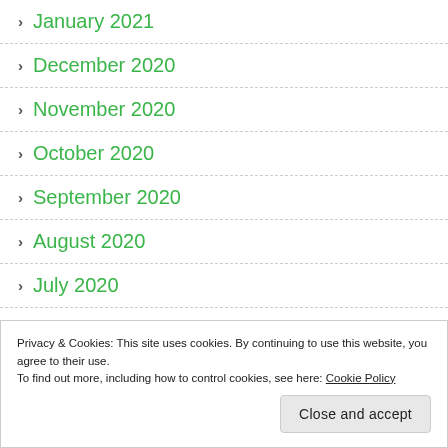January 2021
December 2020
November 2020
October 2020
September 2020
August 2020
July 2020
Privacy & Cookies: This site uses cookies. By continuing to use this website, you agree to their use.
To find out more, including how to control cookies, see here: Cookie Policy
Close and accept
April 2020